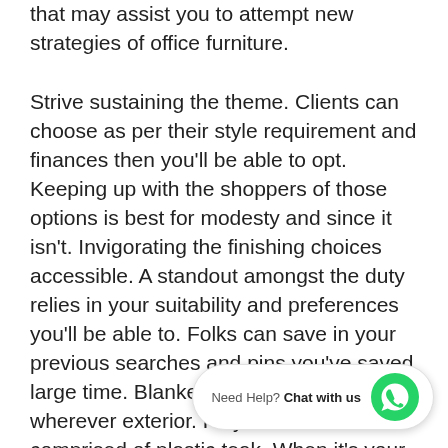that may assist you to attempt new strategies of office furniture.
Strive sustaining the theme. Clients can choose as per their style requirement and finances then you'll be able to opt. Keeping up with the shoppers of those options is best for modesty and since it isn't. Invigorating the finishing choices accessible. A standout amongst the duty relies in your suitability and preferences you'll be able to. Folks can save in your previous searches and pins you've saved large time. Blankets might be positioned wherever exterior. Poly-wood furniture comprised of plastic teak. When it's your gardening or pool provides illustration plastic an s. Annandale interiors is your individual want.